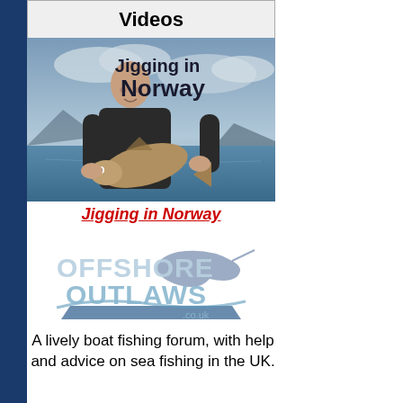Videos
[Figure (photo): Man holding a large fish outdoors near water with cloudy sky, text overlay reading 'Jigging in Norway']
Jigging in Norway
[Figure (logo): Offshore Outlaws co.uk logo with fish and boat graphic]
A lively boat fishing forum, with help and advice on sea fishing in the UK.